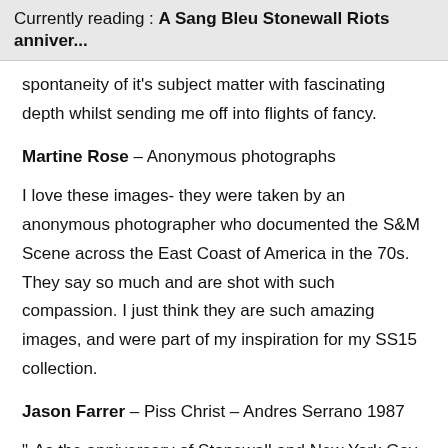Currently reading : A Sang Bleu Stonewall Riots anniver...
spontaneity of it's subject matter with fascinating depth whilst sending me off into flights of fancy.
Martine Rose – Anonymous photographs
I love these images- they were taken by an anonymous photographer who documented the S&M Scene across the East Coast of America in the 70s. They say so much and are shot with such compassion. I just think they are such amazing images, and were part of my inspiration for my SS15 collection.
Jason Farrer – Piss Christ – Andres Serrano 1987
"‹As the anniversary of Stonewall and New York Gay pride segueway into the US's national holiday I want to exemplify Immersion (Piss Christ) as a gentle reminder